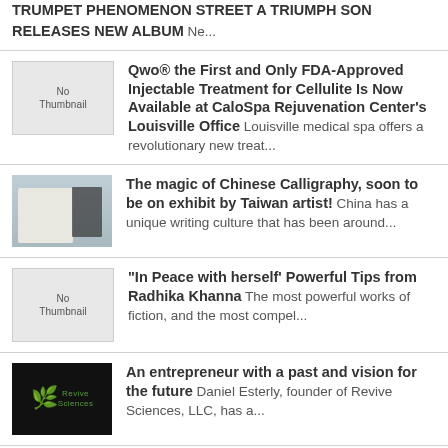TRUMPET PHENOMENON STREET A TRIUMPH SON RELEASES NEW ALBUM Ne...
Qwo® the First and Only FDA-Approved Injectable Treatment for Cellulite Is Now Available at CaloSpa Rejuvenation Center's Louisville Office Louisville medical spa offers a revolutionary new treat...
The magic of Chinese Calligraphy, soon to be on exhibit by Taiwan artist! China has a unique writing culture that has been around...
"In Peace with herself' Powerful Tips from Radhika Khanna The most powerful works of fiction, and the most compel...
An entrepreneur with a past and vision for the future Daniel Esterly, founder of Revive Sciences, LLC, has a...
Taking Artificial Intelligence to Human level We need a universal language to teach our...